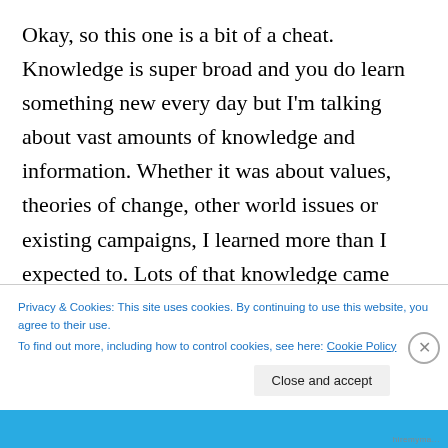Okay, so this one is a bit of a cheat. Knowledge is super broad and you do learn something new every day but I'm talking about vast amounts of knowledge and information. Whether it was about values, theories of change, other world issues or existing campaigns, I learned more than I expected to. Lots of that knowledge came from within the group itself and it was all made so accessible for the less experienced
Privacy & Cookies: This site uses cookies. By continuing to use this website, you agree to their use. To find out more, including how to control cookies, see here: Cookie Policy
Close and accept